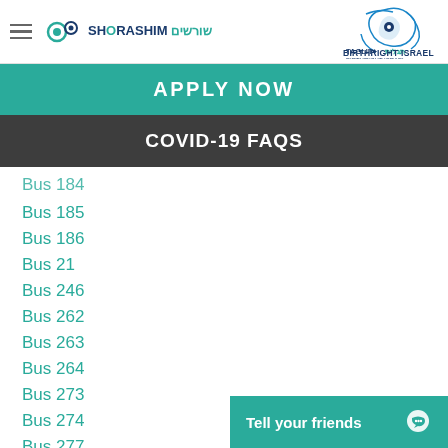SHORASHIM שורשים | TAGLIT+ תגלית BIRTHRIGHT ISRAEL
APPLY NOW
COVID-19 FAQS
Bus 184
Bus 185
Bus 186
Bus 21
Bus 246
Bus 262
Bus 263
Bus 264
Bus 273
Bus 274
Bus 277
Tell your friends